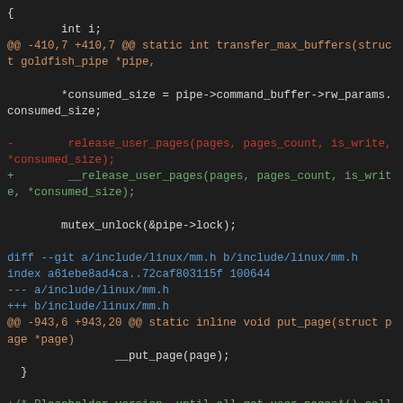Code diff showing changes to goldfish_pipe transfer_max_buffers and include/linux/mm.h, replacing release_user_pages with __release_user_pages and adding put_user_page function.